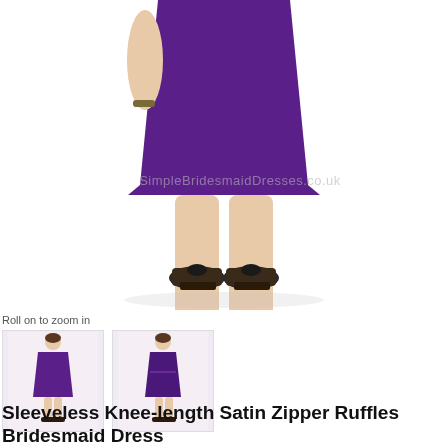[Figure (photo): Main product photo showing lower half of model wearing a purple knee-length bridesmaid dress with black wedge shoes, on white background. Watermarks read 'SimpleBridesmaidDresses.co.uk' appear twice.]
Roll on to zoom in
[Figure (photo): Thumbnail 1: small image of model in purple ruffle bridesmaid dress, full body view]
[Figure (photo): Thumbnail 2: small image of model in purple bridesmaid dress, slightly different angle]
Sleeveless Knee-length Satin Zipper Ruffles Bridesmaid Dress